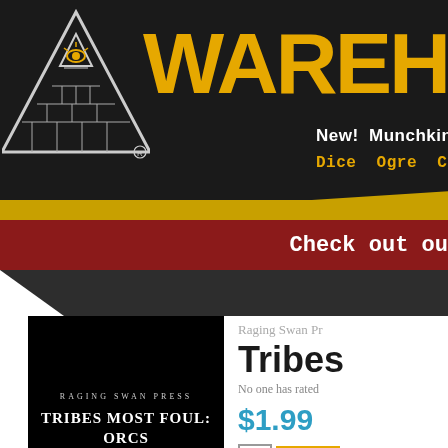[Figure (logo): Warehouse 23 logo with pyramid/eye of providence icon in white outline on dark background, and large yellow WAREHOUSE 23 text]
New!  Munchkin  GURPS  Exclu
Dice  Ogre  Car Wars  The Fantas
Check out ou
[Figure (photo): Book cover of 'Tribes Most Foul: Orcs' by Raging Swan Press, black background with white text]
Raging Swan Pr
Tribes
No one has rated
$1.99
1  ADD